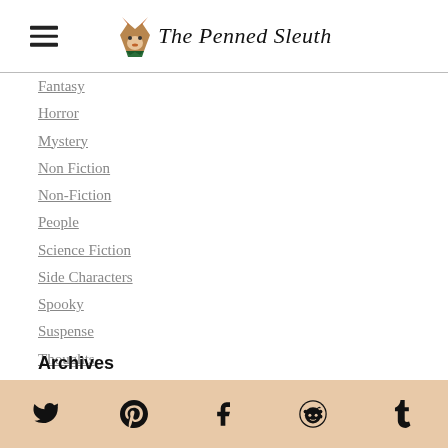The Penned Sleuth
Fantasy
Horror
Mystery
Non Fiction
Non-Fiction
People
Science Fiction
Side Characters
Spooky
Suspense
Thoughts
Western
Writing
Writing Advice
Archives
Twitter, Pinterest, Facebook, Reddit, Tumblr social icons